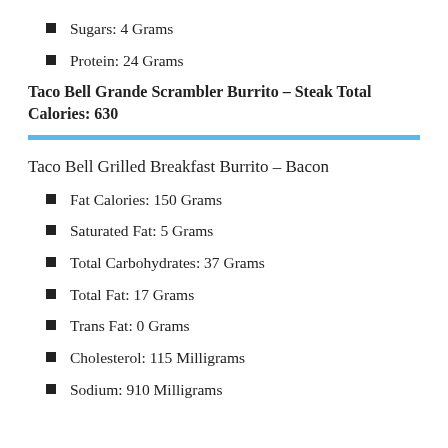Sugars: 4 Grams
Protein: 24 Grams
Taco Bell Grande Scrambler Burrito – Steak Total Calories: 630
Taco Bell Grilled Breakfast Burrito – Bacon
Fat Calories: 150 Grams
Saturated Fat: 5 Grams
Total Carbohydrates: 37 Grams
Total Fat: 17 Grams
Trans Fat: 0 Grams
Cholesterol: 115 Milligrams
Sodium: 910 Milligrams